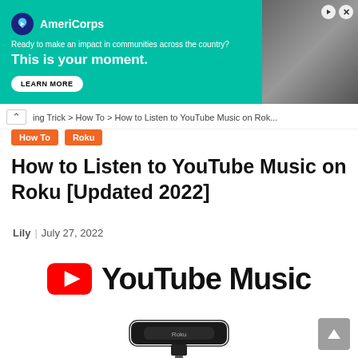[Figure (screenshot): AmeriCorps advertisement banner with teal background. Logo, tagline 'Ready to make an impact in communities across the country?', headline 'This is your moment.', LEARN MORE button on left. Person photo on right.]
ing Trick > How To > How to Listen to YouTube Music on Rok...
How To   Roku
How to Listen to YouTube Music on Roku [Updated 2022]
Lily · July 27, 2022
[Figure (logo): YouTube Music logo: red rounded rectangle play button icon followed by 'YouTube Music' in bold black text]
[Figure (photo): Roku streaming stick device with purple remote control, partially visible at bottom of page]